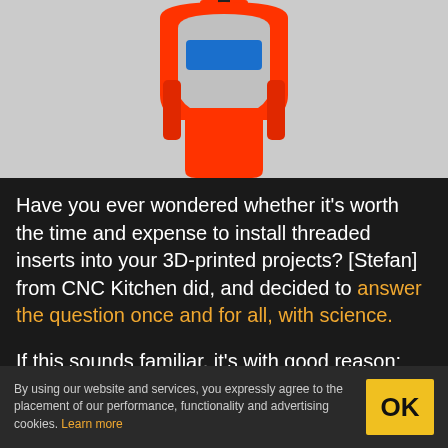[Figure (photo): Red 3D-printed handle/grip with a blue rectangular insert, photographed against a light grey background.]
Have you ever wondered whether it’s worth the time and expense to install threaded inserts into your 3D-printed projects? [Stefan] from CNC Kitchen did, and decided to answer the question once and for all, with science.
If this sounds familiar, it’s with good reason: we covered [Stefan]’s last stab at assessing threaded inserts back in March. Then, he was primarily
By using our website and services, you expressly agree to the placement of our performance, functionality and advertising cookies. Learn more